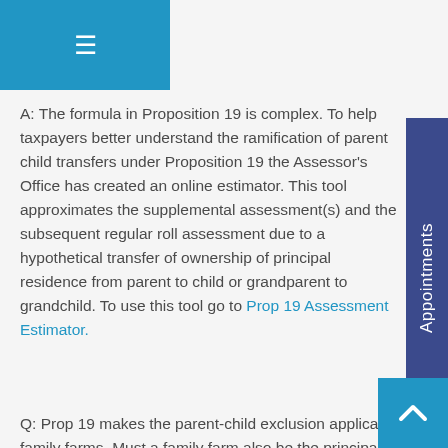[Figure (other): Blue hamburger menu button top-left]
A: The formula in Proposition 19 is complex. To help taxpayers better understand the ramification of parent child transfers under Proposition 19 the Assessor's Office has created an online estimator. This tool approximates the supplemental assessment(s) and the subsequent regular roll assessment due to a hypothetical transfer of ownership of principal residence from parent to child or grandparent to grandchild. To use this tool go to Prop 19 Assessment Estimator.
[Figure (other): Dark blue vertical Appointments sidebar on right]
Q: Prop 19 makes the parent-child exclusion applicable to family farms. Must a family farm also be the principal residence of the transferee
[Figure (other): Blue scroll-up arrow button bottom-right]